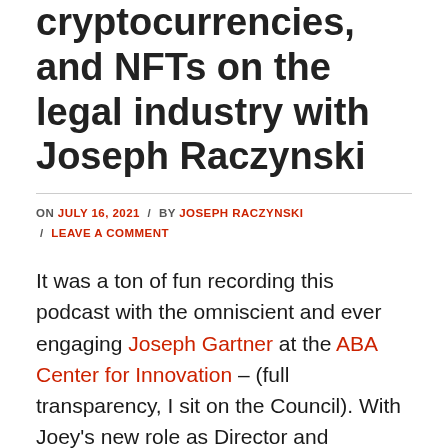cryptocurrencies, and NFTs on the legal industry with Joseph Raczynski
ON JULY 16, 2021 / BY JOSEPH RACZYNSKI / LEAVE A COMMENT
It was a ton of fun recording this podcast with the omniscient and ever engaging Joseph Gartner at the ABA Center for Innovation – (full transparency, I sit on the Council). With Joey's new role as Director and Counsel, we chatted all things #blockchain, #cryptocurrencies, and #NFTs and their impact on the legal industry.